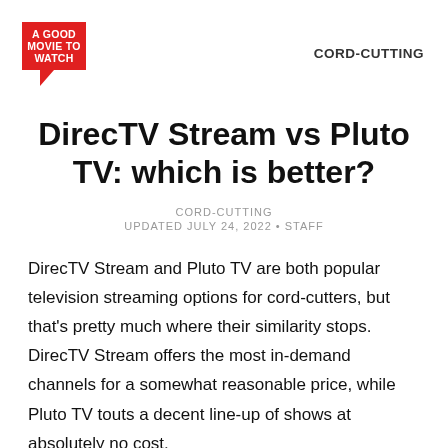[Figure (logo): A Good Movie To Watch logo — red speech bubble shape with white text]
CORD-CUTTING
DirecTV Stream vs Pluto TV: which is better?
CORD-CUTTING
UPDATED JULY 24, 2022 • STAFF
DirecTV Stream and Pluto TV are both popular television streaming options for cord-cutters, but that's pretty much where their similarity stops. DirecTV Stream offers the most in-demand channels for a somewhat reasonable price, while Pluto TV touts a decent line-up of shows at absolutely no cost.